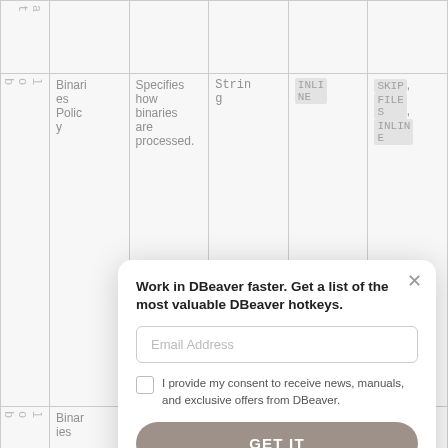|  | Name | Description | Type | Default | Valid Values |
| --- | --- | --- | --- | --- | --- |
| lobExtractType | Binaries Policy | Specifies how binaries are processed. | String | INLINE | SKIP, FILES, INLINE |
| l o b ... | Binaries ... | ... |  |  |  |
[Figure (screenshot): Modal popup overlay on a DBeaver documentation page. Title: 'Work in DBeaver faster. Get a list of the most valuable DBeaver hotkeys.' Contains an email address input field, a consent checkbox, and a 'GET IT' button.]